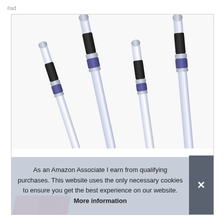#ad
[Figure (photo): Four transparent/acrylic telescoping rods or antenna-style pens with black rubber grips and purple/blue connectors and silver tips, arranged diagonally on a white background. Partially visible red object at bottom.]
As an Amazon Associate I earn from qualifying purchases. This website uses the only necessary cookies to ensure you get the best experience on our website. More information